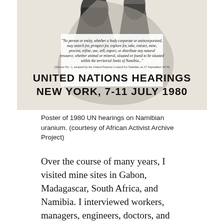[Figure (photo): Black and white poster for 1980 UN Hearings on Namibian uranium. Features silhouetted figures at the top, a quoted decree text in the middle, and large bold text reading 'UNITED NATIONS HEARINGS NEW YORK, 7-11 JULY 1980' at the bottom.]
Poster of 1980 UN hearings on Namibian uranium. (courtesy of African Activist Archive Project)
Over the course of many years, I visited mine sites in Gabon, Madagascar, South Africa, and Namibia. I interviewed workers, managers, engineers, doctors, and residents. I went underground into mine shafts and rode in the enormous haul trucks at open pits. I plugged my ears as I witnessed giant ore crushers, and tried to remain unfazed when acid fumes attacked my sinuses in yellowcake plants. I wandered through